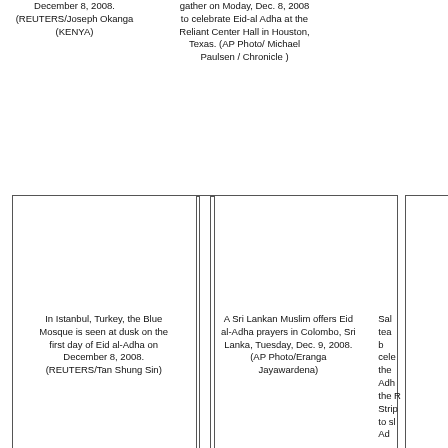December 8, 2008. (REUTERS/Joseph Okanga (KENYA)
gather on Moday, Dec. 8, 2008 to celebrate Eid-al Adha at the Reliant Center Hall in Houston, Texas. (AP Photo/ Michael Paulsen / Chronicle )
[Figure (photo): Photo placeholder box - Blue Mosque Istanbul]
[Figure (photo): Photo placeholder box - Sri Lankan Muslim Eid al-Adha prayers]
[Figure (photo): Photo placeholder box - partially visible right column]
In Istanbul, Turkey, the Blue Mosque is seen at dusk on the first day of Eid al-Adha on December 8, 2008. (REUTERS/Tan Shung Sin)
A Sri Lankan Muslim offers Eid al-Adha prayers in Colombo, Sri Lanka, Tuesday, Dec. 9, 2008. (AP Photo/Eranga Jayawardena)
Sal tea b cele the Adh the R Strip to sl Ad